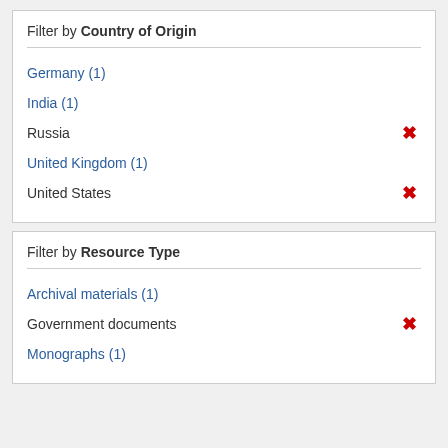Filter by Country of Origin
Germany (1)
India (1)
Russia ×
United Kingdom (1)
United States ×
Filter by Resource Type
Archival materials (1)
Government documents ×
Monographs (1)